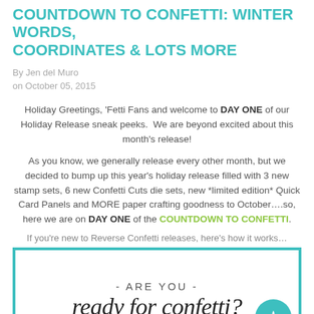COUNTDOWN TO CONFETTI: WINTER WORDS, COORDINATES & LOTS MORE
By Jen del Muro
on October 05, 2015
Holiday Greetings, 'Fetti Fans and welcome to DAY ONE of our Holiday Release sneak peeks. We are beyond excited about this month's release!
As you know, we generally release every other month, but we decided to bump up this year's holiday release filled with 3 new stamp sets, 6 new Confetti Cuts die sets, new *limited edition* Quick Card Panels and MORE paper crafting goodness to October….so, here we are on DAY ONE of the COUNTDOWN TO CONFETTI.
If you're new to Reverse Confetti releases, here's how it works…
[Figure (illustration): Decorative image with teal border containing hand-lettered text: '- ARE YOU - ready for confetti?' with a teal circle logo, and a 'SNEAK PEEKS' bar at the bottom in teal]